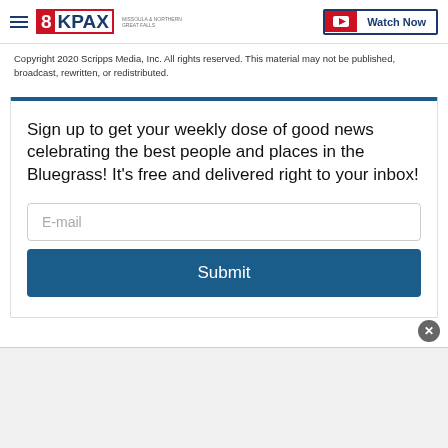8KPAX — Watch Now
Copyright 2020 Scripps Media, Inc. All rights reserved. This material may not be published, broadcast, rewritten, or redistributed.
Sign up to get your weekly dose of good news celebrating the best people and places in the Bluegrass! It's free and delivered right to your inbox!
E-mail
Submit